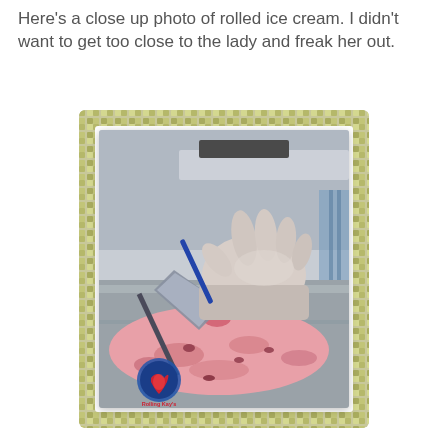Here's a close up photo of rolled ice cream. I didn't want to get too close to the lady and freak her out.
[Figure (photo): Close-up photo of rolled ice cream being made. A gloved hand uses a spatula to roll pink ice cream on a cold steel surface. A small pink roll of ice cream is visible in the center. The photo has a decorative mosaic tile border in green/yellow tones. A logo reading 'Rolling Kay's Ice Cream' appears in the lower left of the photo.]